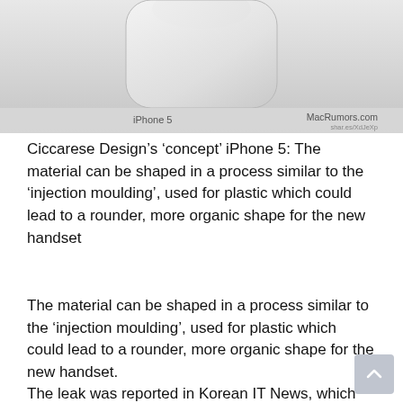[Figure (photo): Concept render of iPhone 5 by Ciccarese Design, showing a curved/rounded white device. Watermarked with 'iPhone 5' on the lower left and 'MacRumors.com' on the lower right.]
Ciccarese Design’s ‘concept’ iPhone 5: The material can be shaped in a process similar to the ‘injection moulding’, used for plastic which could lead to a rounder, more organic shape for the new handset
The material can be shaped in a process similar to the ‘injection moulding’, used for plastic which could lead to a rounder, more organic shape for the new handset.
The leak was reported in Korean IT News, which said, ‘In the meantime, iPhone5 is likely to take liquid metal, an alloy of zirconium, titanium, nickel, copper and so forth having an